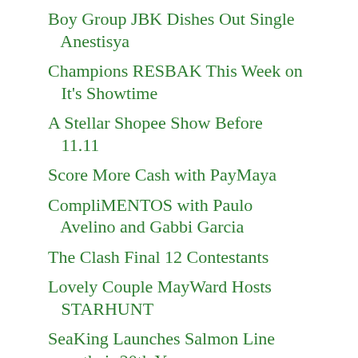Boy Group JBK Dishes Out Single Anestisya
Champions RESBAK This Week on It's Showtime
A Stellar Shopee Show Before 11.11
Score More Cash with PayMaya
CompliMENTOS with Paulo Avelino and Gabbi Garcia
The Clash Final 12 Contestants
Lovely Couple MayWard Hosts STARHUNT
SeaKing Launches Salmon Line on their 20th Year
The Erotica-Thriller Called ADAN
& More of A Scene Of Passion, Maybe...